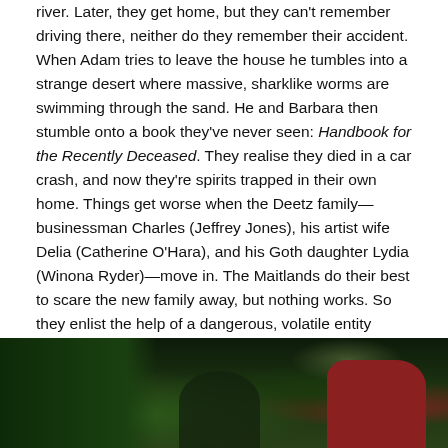river. Later, they get home, but they can't remember driving there, neither do they remember their accident. When Adam tries to leave the house he tumbles into a strange desert where massive, sharklike worms are swimming through the sand. He and Barbara then stumble onto a book they've never seen: Handbook for the Recently Deceased. They realise they died in a car crash, and now they're spirits trapped in their own home. Things get worse when the Deetz family—businessman Charles (Jeffrey Jones), his artist wife Delia (Catherine O'Hara), and his Goth daughter Lydia (Winona Ryder)—move in. The Maitlands do their best to scare the new family away, but nothing works. So they enlist the help of a dangerous, volatile entity called Betelgeuse a.k.a Beetlejuice (Michael Keaton) to exorcise the living from their home. Then everything goes to shit.
[Figure (photo): A dark movie still showing figures in a dimly lit scene with green foliage on the left and a red fuzzy figure on the right side.]